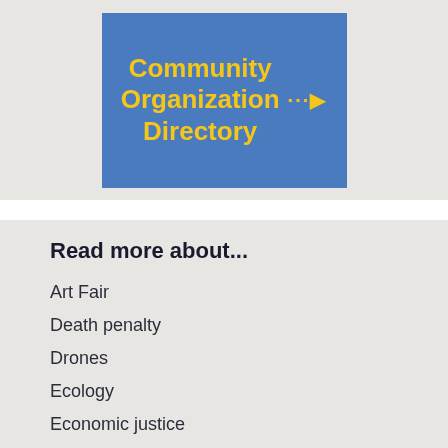[Figure (illustration): Blue banner with yellow bold text reading 'Community Organization Directory' and yellow dotted arrow symbol on the right]
Read more about...
Art Fair
Death penalty
Drones
Ecology
Economic justice